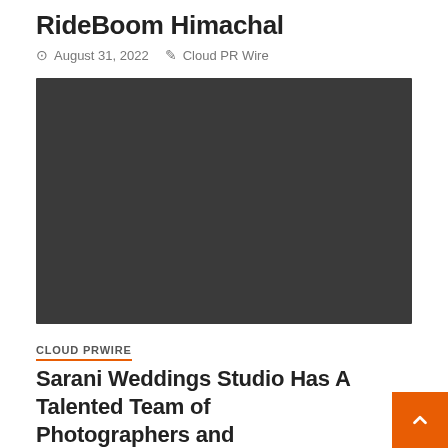RideBoom Himachal
August 31, 2022  Cloud PR Wire
[Figure (photo): Dark gray/black rectangular image placeholder, approximately 3:2 aspect ratio]
CLOUD PRWIRE
Sarani Weddings Studio Has A Talented Team of Photographers and Videographers Offering Impeccable Destination Wedding Photography in Cancun